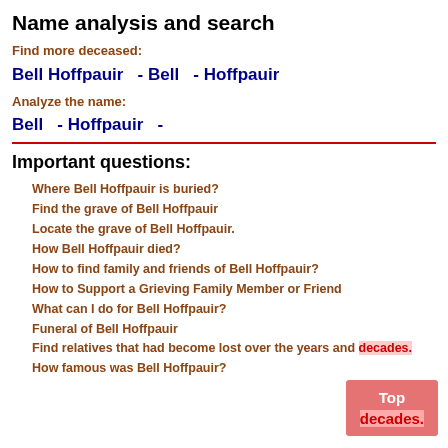Name analysis and search
Find more deceased:
Bell Hoffpauir   - Bell   - Hoffpauir
Analyze the name:
Bell   - Hoffpauir   -
Important questions:
Where Bell Hoffpauir is buried?
Find the grave of Bell Hoffpauir
Locate the grave of Bell Hoffpauir.
How Bell Hoffpauir died?
How to find family and friends of Bell Hoffpauir?
How to Support a Grieving Family Member or Friend
What can I do for Bell Hoffpauir?
Funeral of Bell Hoffpauir
Find relatives that had become lost over the years and decades.
How famous was Bell Hoffpauir?